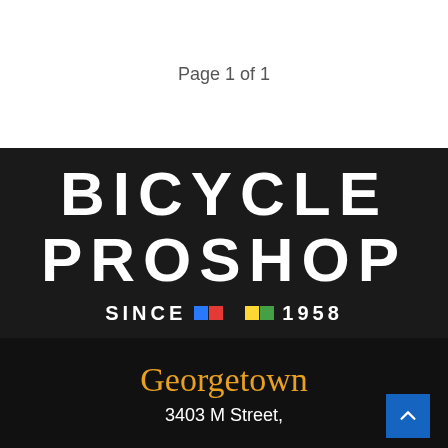Page 1 of 1
[Figure (logo): Bicycle Proshop logo on black background with text 'BICYCLE PROSHOP SINCE 1958' and colored blocks]
Georgetown
3403 M Street,